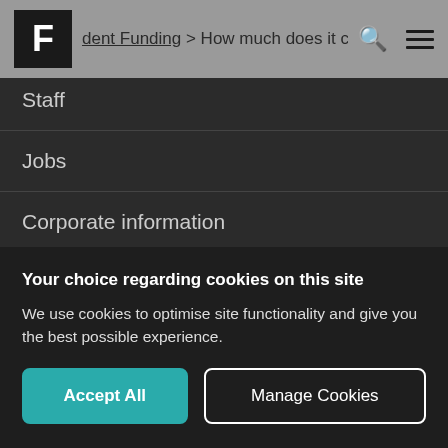dent Funding > How much does it cost?
Staff
Jobs
Corporate information
News
Alumni
Your choice regarding cookies on this site
We use cookies to optimise site functionality and give you the best possible experience.
Accept All   Manage Cookies